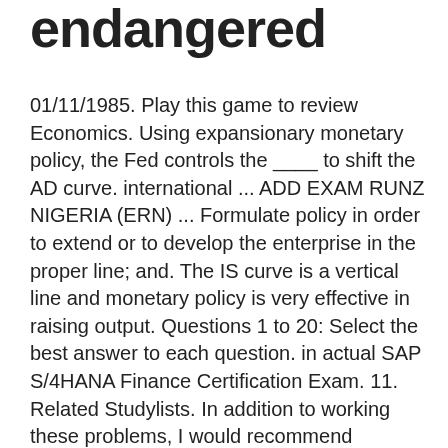endangered
01/11/1985. Play this game to review Economics. Using expansionary monetary policy, the Fed controls the ____ to shift the AD curve. international ... ADD EXAM RUNZ NIGERIA (ERN) ... Formulate policy in order to extend or to develop the enterprise in the proper line; and. The IS curve is a vertical line and monetary policy is very effective in raising output. Questions 1 to 20: Select the best answer to each question. in actual SAP S/4HANA Finance Certification Exam. 11. Related Studylists. In addition to working these problems, I would recommend reviewing all of your old class notes and quizzes, the answers to ... 48. This includes the material we covered in Chapters 10, 11, 12, and 14. F/ACCOUNT OBJ. Each question counts 3/100 points. Report an issue . Geoff Riley FRSA has been teaching Economics for over thirty years. Monetary policy: some questions and answers (PDF 292.2 KB) Latest Publications. 60 seconds . Monetary Policy. Answers to 17 Multiple choice/ short answer questions on multiplier model, aggregate output, output stability, and selected fi...